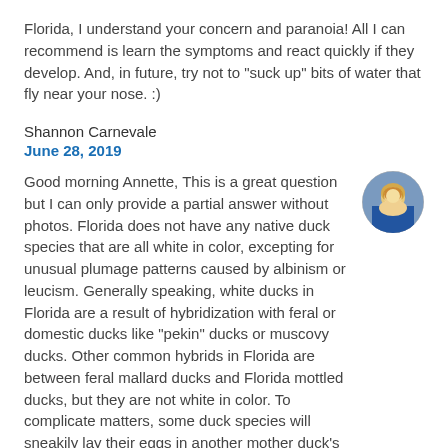Florida, I understand your concern and paranoia! All I can recommend is learn the symptoms and react quickly if they develop. And, in future, try not to "suck up" bits of water that fly near your nose. :)
Shannon Carnevale
June 28, 2019
[Figure (photo): Circular avatar photo of a blonde woman]
Good morning Annette, This is a great question but I can only provide a partial answer without photos. Florida does not have any native duck species that are all white in color, excepting for unusual plumage patterns caused by albinism or leucism. Generally speaking, white ducks in Florida are a result of hybridization with feral or domestic ducks like "pekin" ducks or muscovy ducks. Other common hybrids in Florida are between feral mallard ducks and Florida mottled ducks, but they are not white in color. To complicate matters, some duck species will sneakily lay their eggs in another mother duck's nest, to